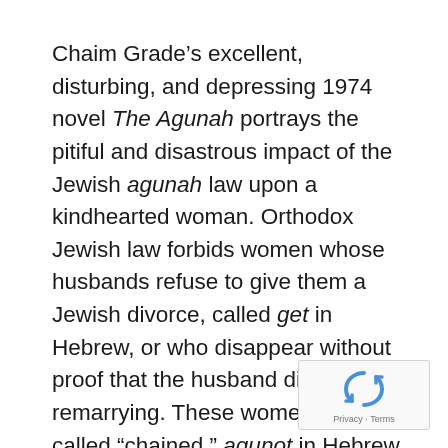Chaim Grade's excellent, disturbing, and depressing 1974 novel The Agunah portrays the pitiful and disastrous impact of the Jewish agunah law upon a kindhearted woman. Orthodox Jewish law forbids women whose husbands refuse to give them a Jewish divorce, called get in Hebrew, or who disappear without proof that the husband died, from remarrying. These women are called “chained,” agunot in Hebrew, the singular is agunah. They are only freed when their husbands give them a get or die.
[Figure (other): reCAPTCHA logo with Privacy and Terms links]